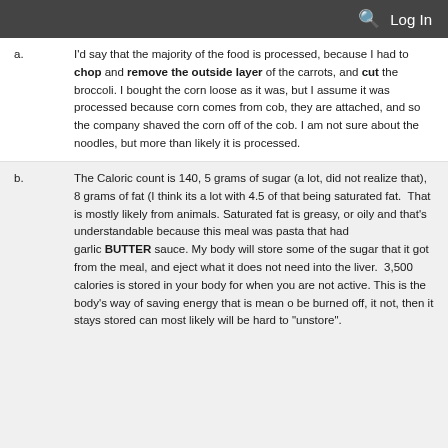Log In
a. I'd say that the majority of the food is processed, because I had to chop and remove the outside layer of the carrots, and cut the broccoli. I bought the corn loose as it was, but I assume it was processed because corn comes from cob, they are attached, and so the company shaved the corn off of the cob. I am not sure about the noodles, but more than likely it is processed.
b. The Caloric count is 140, 5 grams of sugar (a lot, did not realize that), 8 grams of fat (I think its a lot with 4.5 of that being saturated fat. That is mostly likely from animals. Saturated fat is greasy, or oily and that's understandable because this meal was pasta that had garlic BUTTER sauce. My body will store some of the sugar that it got from the meal, and eject what it does not need into the liver. 3,500 calories is stored in your body for when you are not active. This is the body's way of saving energy that is mean o be burned off, it not, then it stays stored can most likely will be hard to "unstore".